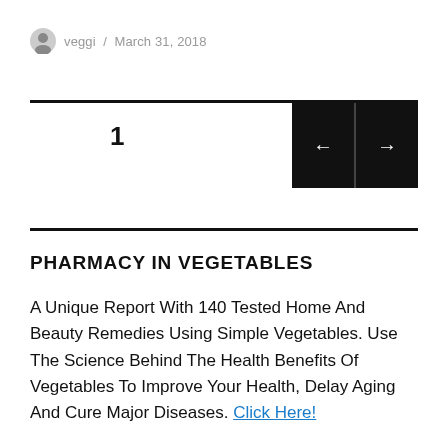veggi / March 31, 2018
1
PHARMACY IN VEGETABLES
A Unique Report With 140 Tested Home And Beauty Remedies Using Simple Vegetables. Use The Science Behind The Health Benefits Of Vegetables To Improve Your Health, Delay Aging And Cure Major Diseases. Click Here!